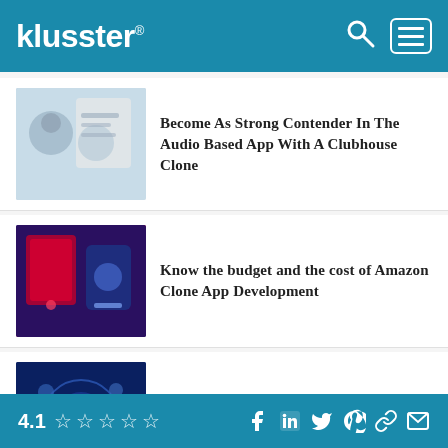klusster®
Become As Strong Contender In The Audio Based App With A Clubhouse Clone
Know the budget and the cost of Amazon Clone App Development
Initiate Your Ecommerce Business With A Multi-vendor Ecommerce Script
Make An Alluring Entry Into The Ecommerce World With An Aliexpress Clone
4.1 ☆☆☆☆☆